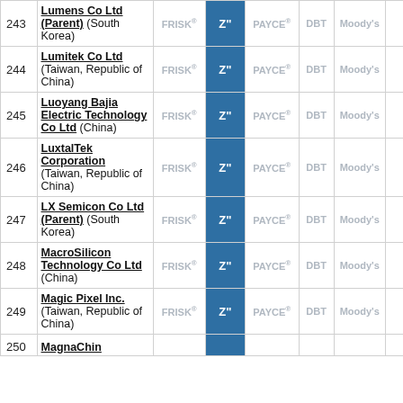| # | Company | FRISK® | Z" | PAYCE® | DBT | Moody's |  |
| --- | --- | --- | --- | --- | --- | --- | --- |
| 243 | Lumens Co Ltd (Parent) (South Korea) | FRISK® | Z" | PAYCE® | DBT | Moody's |  |
| 244 | Lumitek Co Ltd (Taiwan, Republic of China) | FRISK® | Z" | PAYCE® | DBT | Moody's |  |
| 245 | Luoyang Bajia Electric Technology Co Ltd (China) | FRISK® | Z" | PAYCE® | DBT | Moody's |  |
| 246 | LuxtalTek Corporation (Taiwan, Republic of China) | FRISK® | Z" | PAYCE® | DBT | Moody's |  |
| 247 | LX Semicon Co Ltd (Parent) (South Korea) | FRISK® | Z" | PAYCE® | DBT | Moody's |  |
| 248 | MacroSilicon Technology Co Ltd (China) | FRISK® | Z" | PAYCE® | DBT | Moody's |  |
| 249 | Magic Pixel Inc. (Taiwan, Republic of China) | FRISK® | Z" | PAYCE® | DBT | Moody's |  |
| 250 | MagnaChin... |  |  |  |  |  |  |